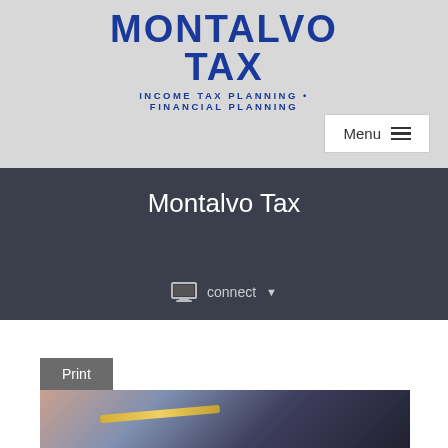[Figure (logo): Montalvo Tax logo — bold blue serif/slab-style text reading MONTALVO TAX with tagline INCOME TAX PLANNING • FINANCIAL PLANNING]
Menu ≡
Montalvo Tax
connect ▼
Print
[Figure (photo): Close-up photo of a person holding a pen, writing or signing a document]